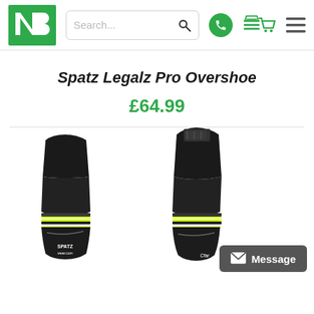[Figure (logo): NB logo - white N and B letters on green square background]
Search...
Spatz Legalz Pro Overshoe
£64.99
[Figure (photo): Two black cycling overshoes (Spatz Legalz Pro) with yellow-green and white stripe accents, Spatzwear.com branding visible on left shoe]
Message